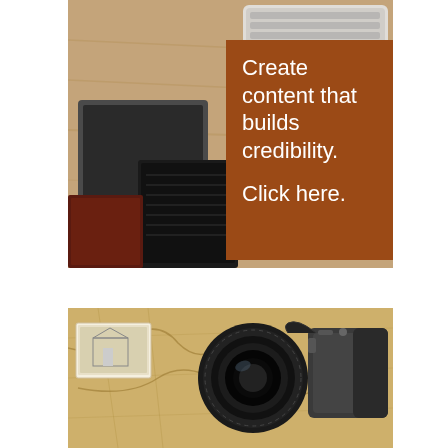[Figure (photo): Top image: a desk workspace scene with a laptop keyboard, notebook/tablet, and wooden surface in warm tones. An overlapping brown/rust colored box contains white text reading 'Create content that builds credibility.' and 'Click here.']
[Figure (photo): Bottom image: a camera lens and body placed on top of an old vintage map, with a postcard visible on the left side.]